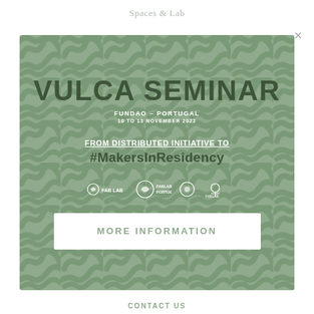Spaces & Lab
[Figure (infographic): Modal popup card with sage green background and white squiggly pattern overlay. Contains event information for VULCA SEMINAR, FUNDAO - PORTUGAL, 10 TO 13 NOVEMBER 2022, FROM DISTRIBUTED INITIATIVE TO #MakersInResidency, sponsor logos, and a MORE INFORMATION button.]
VULCA SEMINAR
FUNDAO - PORTUGAL
10 TO 13 NOVEMBER 2022
FROM DISTRIBUTED INITIATIVE TO #MakersInResidency
MORE INFORMATION
CONTACT US